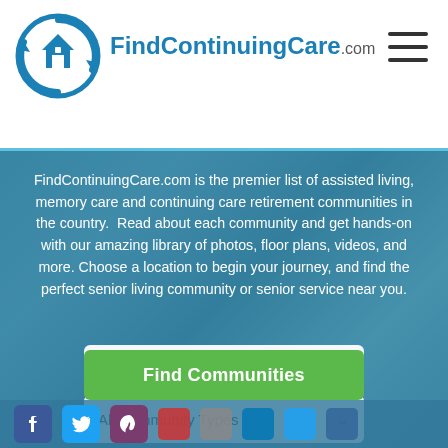[Figure (logo): FindContinuingCare.com logo with circular arrow icon around a house symbol in blue]
FindContinuingCare.com
FindContinuingCare.com is the premier list of assisted living, memory care and continuing care retirement communities in the country.  Read about each community and get hands-on with our amazing library of photos, floor plans, videos, and more. Choose a location to begin your journey, and find the perfect senior living community or senior service near you.
ZIP Code or City and State
All Community Types
Find Communities